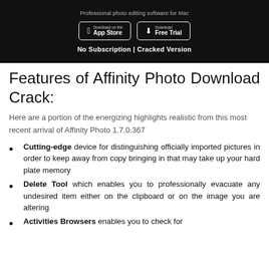[Figure (screenshot): Dark banner showing 'Professional photo editing software for Mac' subtitle, App Store and Free Trial download buttons, and 'No Subscription | Cracked Version' tagline in white text on black background.]
Features of Affinity Photo Download Crack:
Here are a portion of the energizing highlights realistic from this most recent arrival of Affinity Photo 1.7.0.367
Cutting-edge device for distinguishing officially imported pictures in order to keep away from copy bringing in that may take up your hard plate memory
Delete Tool which enables you to professionally evacuate any undesired item either on the clipboard or on the image you are altering
Activities Browsers enables you to check for